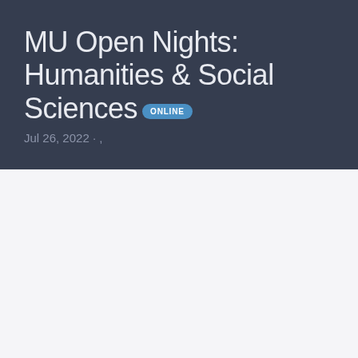MU Open Nights: Humanities & Social Sciences ONLINE
Jul 26, 2022 · ,